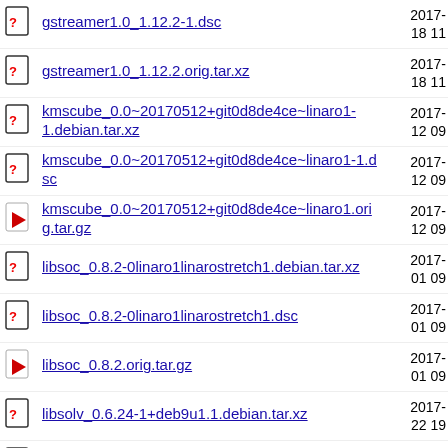gstreamer1.0_1.12.2-1.dsc   2017-18 11
gstreamer1.0_1.12.2.orig.tar.xz   2017-18 11
kmscube_0.0~20170512+git0d8de4ce~linaro1-1.debian.tar.xz   2017-12 09
kmscube_0.0~20170512+git0d8de4ce~linaro1-1.dsc   2017-12 09
kmscube_0.0~20170512+git0d8de4ce~linaro1.orig.tar.gz   2017-12 09
libsoc_0.8.2-0linaro1linarostretch1.debian.tar.xz   2017-01 09
libsoc_0.8.2-0linaro1linarostretch1.dsc   2017-01 09
libsoc_0.8.2.orig.tar.gz   2017-01 09
libsolv_0.6.24-1+deb9u1.1.debian.tar.xz   2017-22 19
libsolv_0.6.24-1+deb9u1.1.dsc   2017-22 19
libsolv_0.6.24.orig.tar.xz   2017-22 19
... 2017-